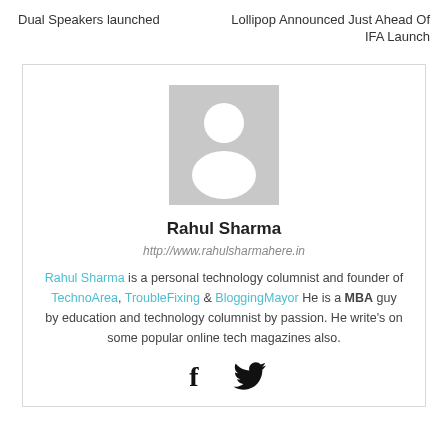Dual Speakers launched
Lollipop Announced Just Ahead Of IFA Launch
[Figure (illustration): Default user avatar placeholder: grey rectangle with white silhouette of a person (head circle and shoulders)]
Rahul Sharma
http://www.rahulsharmahere.in
Rahul Sharma is a personal technology columnist and founder of TechnoArea, TroubleFixing & BloggingMayor He is a MBA guy by education and technology columnist by passion. He write’s on some popular online tech magazines also.
[Figure (illustration): Social media icons: Facebook (f) and Twitter (bird) icons]